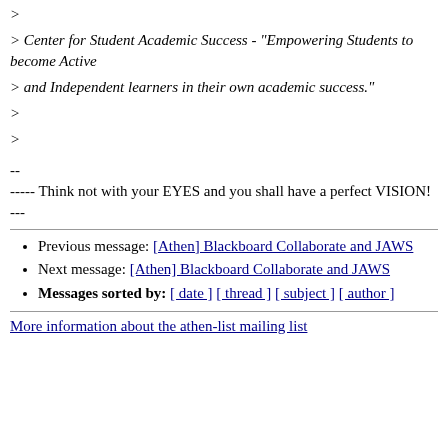> Center for Student Academic Success - "Empowering Students to become Active
> and Independent learners in their own academic success."
>
>
--
----- Think not with your EYES and you shall have a perfect VISION! ---
Previous message: [Athen] Blackboard Collaborate and JAWS
Next message: [Athen] Blackboard Collaborate and JAWS
Messages sorted by: [ date ] [ thread ] [ subject ] [ author ]
More information about the athen-list mailing list